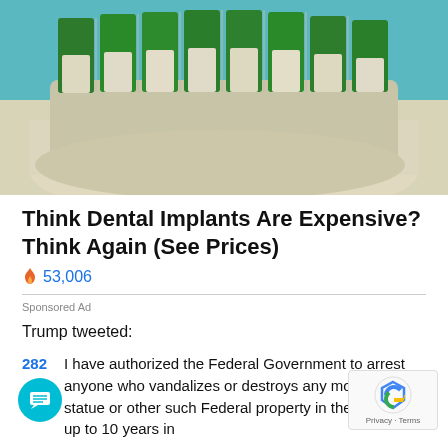[Figure (photo): Dental implant model showing a row of teeth with green caps on a beige/cream colored dental mold base, photographed against a blue background]
Think Dental Implants Are Expensive? Think Again (See Prices)
🔥 53,006
Sponsored Ad
Trump tweeted:
282  I have authorized the Federal Government to arrest anyone who vandalizes or destroys any monument, statue or other such Federal property in the U.S. with up to 10 years in